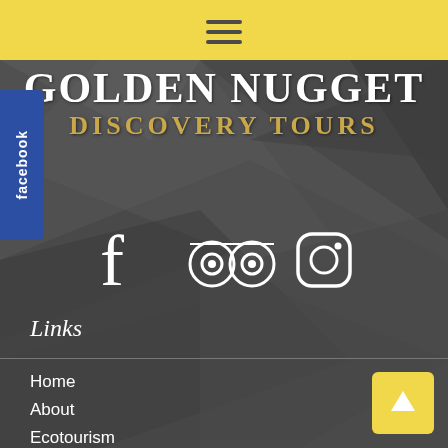[Figure (other): Yellow top bar with hamburger menu icon]
GOLDEN NUGGET
DISCOVERY TOURS
[Figure (other): Social media icons: Facebook, TripAdvisor, Instagram]
[Figure (other): Facebook sidebar tab with rotated text 'facebook']
Links
Home
About
Ecotourism
Tours
Specials